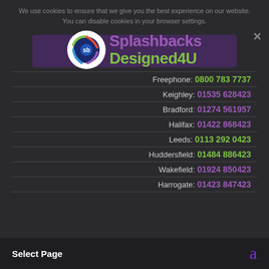We use cookies to ensure that we give you the best experience on our website. You can disable cookies in your browser settings.
[Figure (logo): Splashbacks Designed4U logo with circular icon and text]
Freephone: 0800 783 7737
Keighley: 01535 628423
Bradford: 01274 561957
Halifax: 01422 868423
Leeds: 0113 292 0423
Huddersfield: 01484 886423
Wakefield: 01924 850423
Harrogate: 01423 847423
Select Page
a